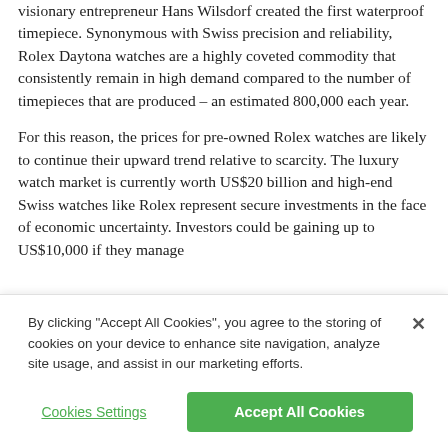visionary entrepreneur Hans Wilsdorf created the first waterproof timepiece. Synonymous with Swiss precision and reliability, Rolex Daytona watches are a highly coveted commodity that consistently remain in high demand compared to the number of timepieces that are produced – an estimated 800,000 each year.
For this reason, the prices for pre-owned Rolex watches are likely to continue their upward trend relative to scarcity. The luxury watch market is currently worth US$20 billion and high-end Swiss watches like Rolex represent secure investments in the face of economic uncertainty. Investors could be gaining up to US$10,000 if they manage
By clicking "Accept All Cookies", you agree to the storing of cookies on your device to enhance site navigation, analyze site usage, and assist in our marketing efforts.
Cookies Settings
Accept All Cookies